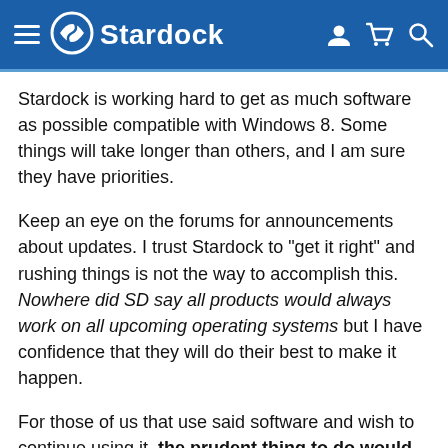Stardock
Stardock is working hard to get as much software as possible compatible with Windows 8. Some things will take longer than others, and I am sure they have priorities.
Keep an eye on the forums for announcements about updates. I trust Stardock to "get it right" and rushing things is not the way to accomplish this. Nowhere did SD say all products would always work on all upcoming operating systems but I have confidence that they will do their best to make it happen.
For those of us that use said software and wish to continue using it, the prudent thing to do would be to wait to change to a new OS. Apparently, I am one of very few who think this.
As for A and B, etc, all you need to do is log on to the